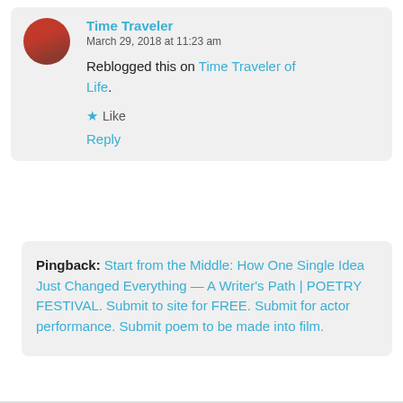Time Traveler
March 29, 2018 at 11:23 am

Reblogged this on Time Traveler of Life.

★ Like

Reply
Pingback: Start from the Middle: How One Single Idea Just Changed Everything — A Writer's Path | POETRY FESTIVAL. Submit to site for FREE. Submit for actor performance. Submit poem to be made into film.